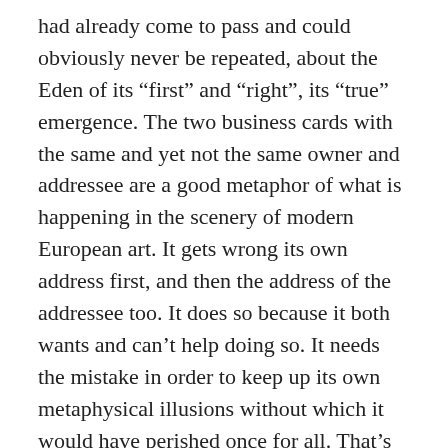had already come to pass and could obviously never be repeated, about the Eden of its “first” and “right”, its “true” emergence. The two business cards with the same and yet not the same owner and addressee are a good metaphor of what is happening in the scenery of modern European art. It gets wrong its own address first, and then the address of the addressee too. It does so because it both wants and can’t help doing so. It needs the mistake in order to keep up its own metaphysical illusions without which it would have perished once for all. That’s why art shifts from the substantial thoughts and emotions communicated through its medium to the medium itself. In addition, art is more and more concerned with submitting to the rules of the new political correctness in social and intersexual relations, this way losing its sharpness and quality of being relentlessly problematic and entering the field of full certainty, of total security. There it forfeits altogether its ability to happen as a significant event and becomes ever more a straightforward